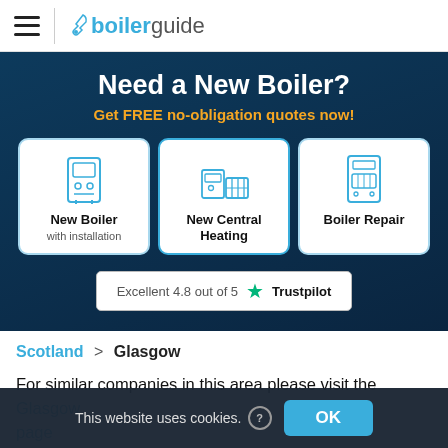boilerguide
Need a New Boiler?
Get FREE no-obligation quotes now!
[Figure (infographic): Three service option cards: New Boiler with installation, New Central Heating, Boiler Repair — each with a blue line-art icon]
Excellent 4.8 out of 5 ★ Trustpilot
Scotland > Glasgow
For similar companies in this area please visit the Glasgow page
This website uses cookies. ⓘ  OK
JCM Heating Services L...